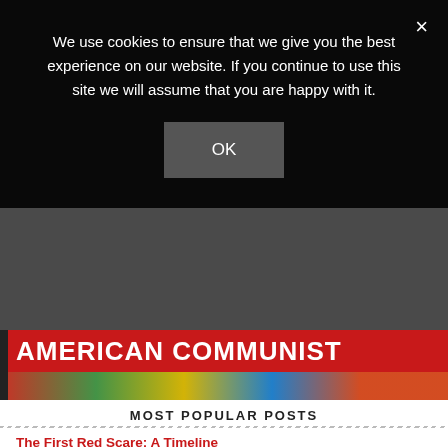We use cookies to ensure that we give you the best experience on our website. If you continue to use this site we will assume that you are happy with it.
OK
[Figure (photo): Partial banner image with red background and white text reading 'AMERICAN COMMUNIST', with colorful imagery below]
MOST POPULAR POSTS
The First Red Scare: A Timeline
History of Colonization in the Middle East and North Africa (MENA): Precursor to Cold War Conflict
The End of the Cold War: A Cold War Timeline